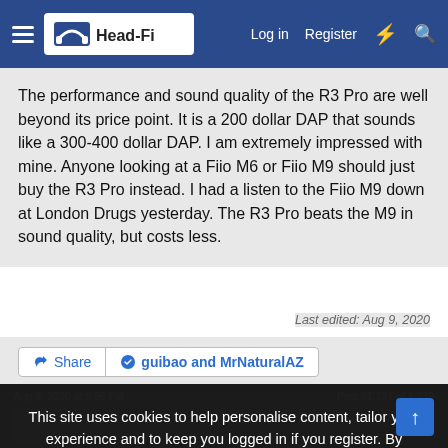Head-Fi — Log in | Register
The performance and sound quality of the R3 Pro are well beyond its price point. It is a 200 dollar DAP that sounds like a 300-400 dollar DAP. I am extremely impressed with mine. Anyone looking at a Fiio M6 or Fiio M9 should just buy the R3 Pro instead. I had a listen to the Fiio M9 down at London Drugs yesterday. The R3 Pro beats the M9 in sound quality, but costs less.
Last edited: Aug 9, 2020
Share | guibao and MrNaturalAZ
Aug 9, 2020 at 5:56 PM   Post #1,137 of 1,639
This site uses cookies to help personalise content, tailor your experience and to keep you logged in if you register. By continuing to use this site, you are consenting to our use of cookies.